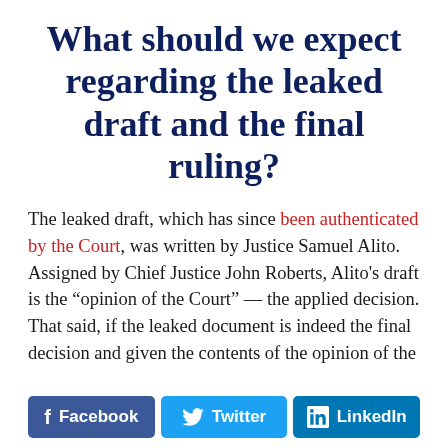What should we expect regarding the leaked draft and the final ruling?
The leaked draft, which has since been authenticated by the Court, was written by Justice Samuel Alito. Assigned by Chief Justice John Roberts, Alito's draft is the “opinion of the Court” — the applied decision. That said, if the leaked document is indeed the final decision and given the contents of the opinion of the
[Figure (infographic): Social media sharing buttons: Facebook (blue), Twitter (cyan), LinkedIn (blue)]